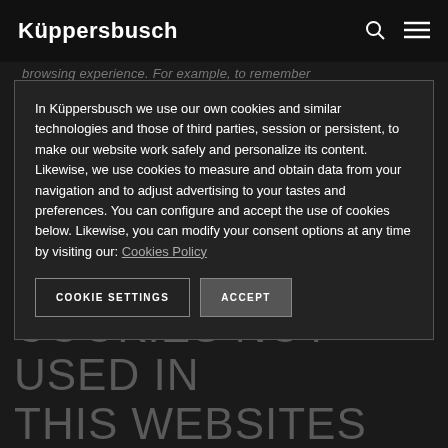Küppersbusch
browsing experience. For example, to remember
In Küppersbusch we use our own cookies and similar technologies and those of third parties, session or persistent, to make our website work safely and personalize its content. Likewise, we use cookies to measure and obtain data from your navigation and to adjust advertising to your tastes and preferences. You can configure and accept the use of cookies below. Likewise, you can modify your consent options at any time by visiting our:
COOKIE SETTINGS    ACCEPT
PURPOSE ARE COOKIES NOT USED IN THIS WEBSITES